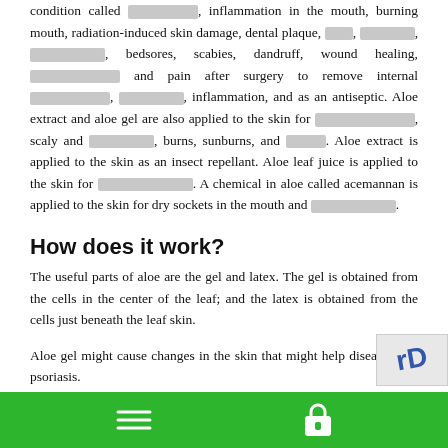condition called [redacted], inflammation in the mouth, burning mouth, radiation-induced skin damage, dental plaque, [redacted], [redacted], [redacted], bedsores, scabies, dandruff, wound healing, [redacted] and pain after surgery to remove internal [redacted], [redacted], inflammation, and as an antiseptic. Aloe extract and aloe gel are also applied to the skin for [redacted], scaly and [redacted], burns, sunburns, and [redacted]. Aloe extract is applied to the skin as an insect repellant. Aloe leaf juice is applied to the skin for [redacted]. A chemical in aloe called acemannan is applied to the skin for dry sockets in the mouth and [redacted].
How does it work?
The useful parts of aloe are the gel and latex. The gel is obtained from the cells in the center of the leaf; and the latex is obtained from the cells just beneath the leaf skin.
Aloe gel might cause changes in the skin that might help diseases like psoriasis.
Navigation footer with menu and lock icons